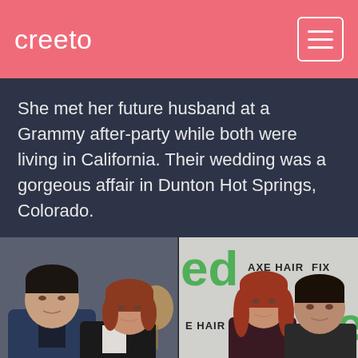creeto
She met her future husband at a Grammy after-party while both were living in California. Their wedding was a gorgeous affair in Dunton Hot Springs, Colorado.
[Figure (photo): Two side-by-side photos of a couple. Left photo shows a man with dark hair in a denim jacket and a woman with reddish-brown hair in a black top, at an indoor event. Right photo shows a woman in a dark dress with long red hair and a man in a dark jacket, posing at a 'ted' and 'AXE Hair' branded backdrop.]